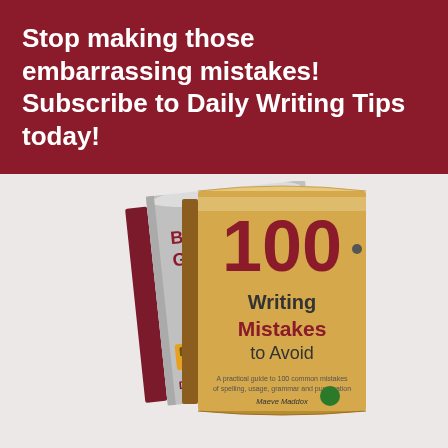Stop making those embarrassing mistakes! Subscribe to Daily Writing Tips today!
[Figure (illustration): Two books shown: 'Basic English Grammar' behind, and '100 Writing Mistakes to Avoid' in front, both published by DailyWritingTips.]
You will improve your English in only 5 minutes per day, guaranteed!